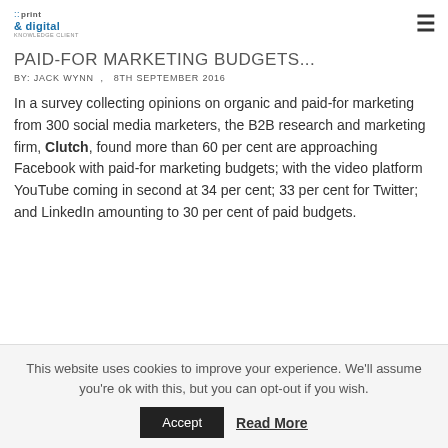::print & digital KNOWLEDGE CLIENT
PAID-FOR MARKETING BUDGETS...
BY: JACK WYNN ,  8TH SEPTEMBER 2016
In a survey collecting opinions on organic and paid-for marketing from 300 social media marketers, the B2B research and marketing firm, Clutch, found more than 60 per cent are approaching Facebook with paid-for marketing budgets; with the video platform YouTube coming in second at 34 per cent; 33 per cent for Twitter; and LinkedIn amounting to 30 per cent of paid budgets.
This website uses cookies to improve your experience. We'll assume you're ok with this, but you can opt-out if you wish.
Accept   Read More